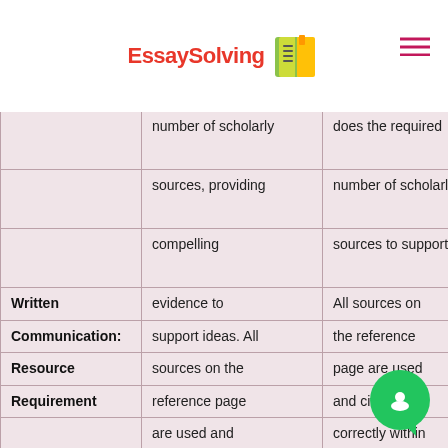EssaySolving [logo]
|  |  |  |
| --- | --- | --- |
|  | number of scholarly sources, providing compelling | does the required number of scholarly sources to support ideas. |
| Written Communication: Resource Requirement | evidence to support ideas. All sources on the reference page are used and cited correctly within the body of the | All sources on the reference page are used and cited correctly within the body of the assignment. |